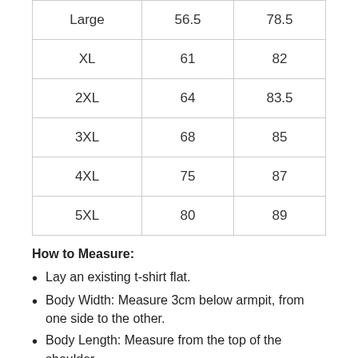| Large | 56.5 | 78.5 |
| XL | 61 | 82 |
| 2XL | 64 | 83.5 |
| 3XL | 68 | 85 |
| 4XL | 75 | 87 |
| 5XL | 80 | 89 |
How to Measure:
Lay an existing t-shirt flat.
Body Width: Measure 3cm below armpit, from one side to the other.
Body Length: Measure from the top of the shoulder